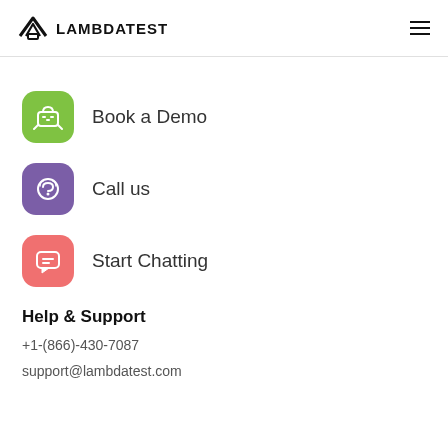LAMBDATEST
Book a Demo
Call us
Start Chatting
Help & Support
+1-(866)-430-7087
support@lambdatest.com